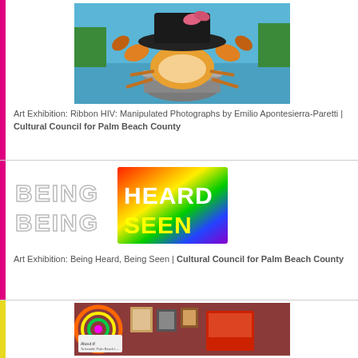[Figure (photo): Painting of a crab in a cooking pot with a large black hat, set against a blue water background]
Art Exhibition: Ribbon HIV: Manipulated Photographs by Emilio Apontesierra-Paretti | Cultural Council for Palm Beach County
[Figure (logo): Being Heard, Being Seen exhibition logo — 'BEING BEING' in outlined letters on the left, 'HEARD SEEN' in bold white/yellow on a rainbow gradient background on the right]
Art Exhibition: Being Heard, Being Seen | Cultural Council for Palm Beach County
[Figure (photo): Photo of an art exhibition or store interior with colorful tie-dye items and framed artwork on the walls]